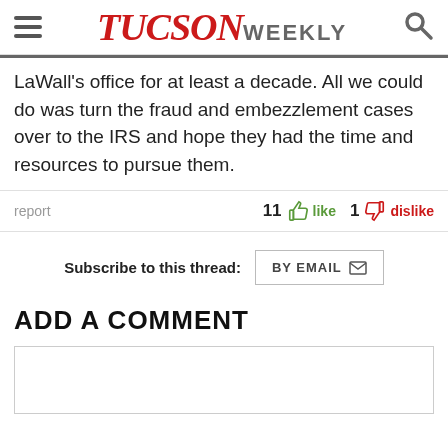TUCSON WEEKLY
LaWall's office for at least a decade. All we could do was turn the fraud and embezzlement cases over to the IRS and hope they had the time and resources to pursue them.
report  11 like  1 dislike
Subscribe to this thread: BY EMAIL
ADD A COMMENT